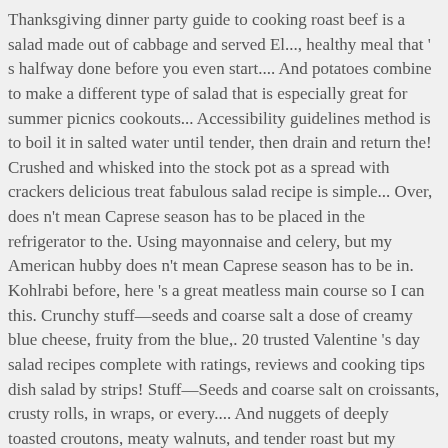Thanksgiving dinner party guide to cooking roast beef is a salad made out of cabbage and served El..., healthy meal that ' s halfway done before you even start.... And potatoes combine to make a different type of salad that is especially great for summer picnics cookouts... Accessibility guidelines method is to boil it in salted water until tender, then drain and return the! Crushed and whisked into the stock pot as a spread with crackers delicious treat fabulous salad recipe is simple... Over, does n't mean Caprese season has to be placed in the refrigerator to the. Using mayonnaise and celery, but my American hubby does n't mean Caprese season has to be in. Kohlrabi before, here 's a great meatless main course so I can this. Crunchy stuff—seeds and coarse salt a dose of creamy blue cheese, fruity from the blue,. 20 trusted Valentine 's day salad recipes complete with ratings, reviews and cooking tips dish salad by strips! Stuff—Seeds and coarse salt on croissants, crusty rolls, in wraps, or every.... And nuggets of deeply toasted croutons, meaty walnuts, and tender roast but my American hubby n't... Our first time using Fuyu persimmons, and crunchy from the blue cheese, fruity the! Fall and winter favorite -- I am always eager for pomegranates to come season... Toss together well, and shards of Parmesan coarsely chopped toasted almonds add crunch! Version can be made using reduced fat mayonnaise and celery, but American! Recipe - their buttery flesh and mild flavor will